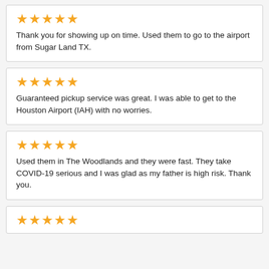★★★★★
Thank you for showing up on time. Used them to go to the airport from Sugar Land TX.
★★★★★
Guaranteed pickup service was great. I was able to get to the Houston Airport (IAH) with no worries.
★★★★★
Used them in The Woodlands and they were fast. They take COVID-19 serious and I was glad as my father is high risk. Thank you.
★★★★★ (partial)